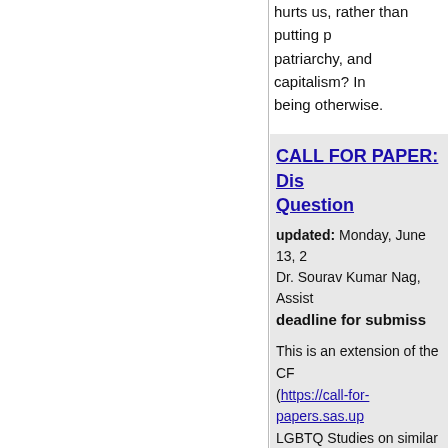hurts us, rather than putting patriarchy, and capitalism? In being otherwise.
CALL FOR PAPER: Dis… Question
updated: Monday, June 13, 2…
Dr. Sourav Kumar Nag, Assist…
deadline for submiss…
This is an extension of the CF… (https://call-for-papers.sas.up… LGBTQ Studies on similar thr… cycle of review is done. Pleas… of the author, abstract and th…
womanquestionsubmission@g…